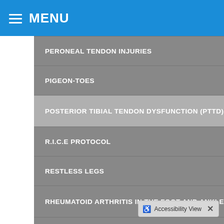MENU
PERONEAL TENDON INJURIES
PIGEON-TOES
POSTERIOR TIBIAL TENDON DYSFUNCTION (PTTD)
R.I.C.E PROTOCOL
RESTLESS LEGS
RHEUMATOID ARTHRITIS IN THE FOOT AND ANKLE
SESAMOID INJURIES IN THE FOOT
SHIN SPLINTS
Accessibility View